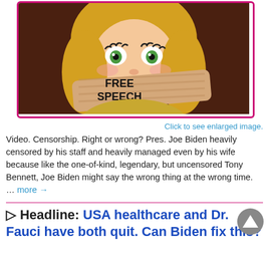[Figure (illustration): Cartoon illustration of a blonde woman with green eyes and rosy cheeks, with a hand covering her mouth. The hand has 'FREE SPEECH' written on it. Framed with a pink/magenta border.]
Click to see enlarged image.
Video. Censorship. Right or wrong? Pres. Joe Biden heavily censored by his staff and heavily managed even by his wife because like the one-of-kind, legendary, but uncensored Tony Bennett, Joe Biden might say the wrong thing at the wrong time. … more →
▷ Headline: USA healthcare and Dr. Fauci have both quit. Can Biden fix this?